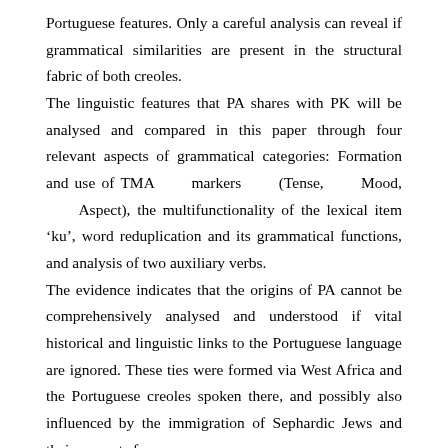Portuguese features. Only a careful analysis can reveal if grammatical similarities are present in the structural fabric of both creoles.
The linguistic features that PA shares with PK will be analysed and compared in this paper through four relevant aspects of grammatical categories: Formation and use of TMA markers (Tense, Mood, Aspect), the multifunctionality of the lexical item ‘ku’, word reduplication and its grammatical functions, and analysis of two auxiliary verbs.
The evidence indicates that the origins of PA cannot be comprehensively analysed and understood if vital historical and linguistic links to the Portuguese language are ignored. These ties were formed via West Africa and the Portuguese creoles spoken there, and possibly also influenced by the immigration of Sephardic Jews and their servants from